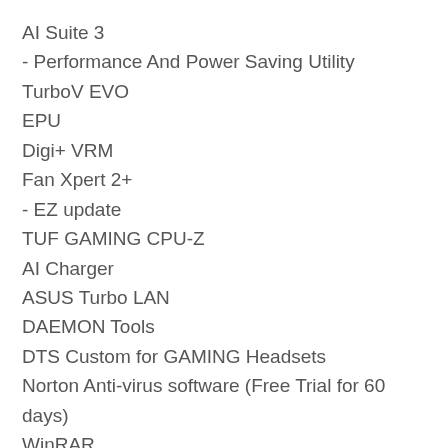AI Suite 3
- Performance And Power Saving Utility
TurboV EVO
EPU
Digi+ VRM
Fan Xpert 2+
- EZ update
TUF GAMING CPU-Z
AI Charger
ASUS Turbo LAN
DAEMON Tools
DTS Custom for GAMING Headsets
Norton Anti-virus software (Free Trial for 60 days)
WinRAR
UEFI BIOS
ASUS EZ DIY